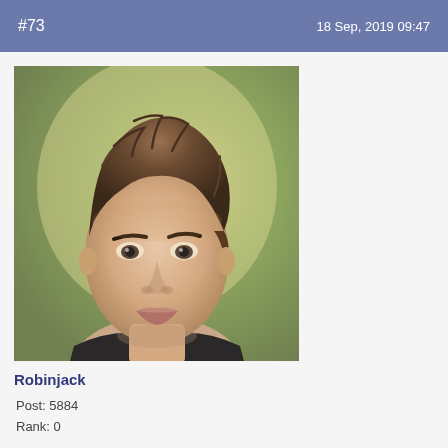#73   18 Sep, 2019 09:47
[Figure (photo): Profile photo of a young man with styled brown hair, sharp facial features, photographed against a blurred green/yellow background]
Robinjack
Post: 5884
Rank: 0
Hands down, Apple's app store wins by a mile. It's a huge selection of all sorts of http://luxurylove.org